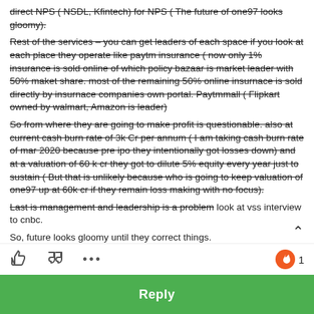direct NPS ( NSDL, Kfintech) for NPS ( The future of one97 looks gloomy).
Rest of the services – you can get leaders of each space if you look at each place they operate like paytm insurance ( now only 1% insurance is sold online of which policy bazaar is market leader with 50% maket share. most of the remaining 50% online insurnace is sold directly by insurnace companies own portal. Paytmmall ( Flipkart owned by walmart, Amazon is leader)
So from where they are going to make profit is questionable. also at current cash burn rate of 3k Cr per annum ( I am taking cash burn rate of mar 2020 because pre ipo they intentionally got losses down) and at a valuation of 60 k cr they got to dilute 5% equity every year just to sustain ( But that is unlikely because who is going to keep valuation of one97 up at 60k cr if they remain loss making with no focus).
Last is management and leadership is a problem look at vss interview to cnbc.
So, future looks gloomy until they correct things.
Reply